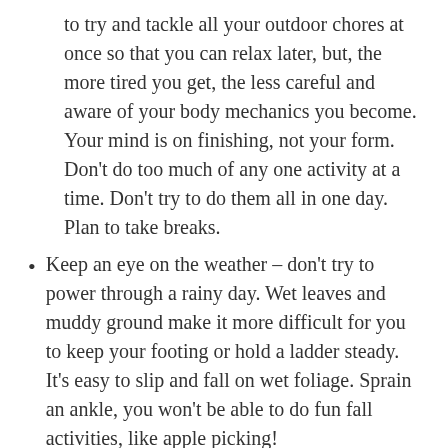to try and tackle all your outdoor chores at once so that you can relax later, but, the more tired you get, the less careful and aware of your body mechanics you become. Your mind is on finishing, not your form.  Don't do too much of any one activity at a time. Don't try to do them all in one day. Plan to take breaks.
Keep an eye on the weather – don't try to power through a rainy day. Wet leaves and muddy ground make it more difficult for you to keep your footing or hold a ladder steady. It's easy to slip and fall on wet foliage. Sprain an ankle, you won't be able to do fun fall activities, like apple picking!
Cleaning Up Leaves
Be aware of your positioning – you want your